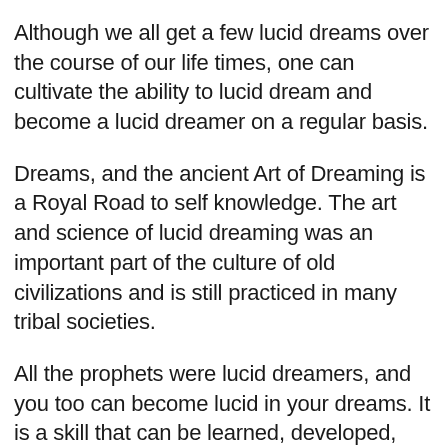Although we all get a few lucid dreams over the course of our life times, one can cultivate the ability to lucid dream and become a lucid dreamer on a regular basis.
Dreams, and the ancient Art of Dreaming is a Royal Road to self knowledge. The art and science of lucid dreaming was an important part of the culture of old civilizations and is still practiced in many tribal societies.
All the prophets were lucid dreamers, and you too can become lucid in your dreams. It is a skill that can be learned, developed, and eventually mastered, just like any skill.